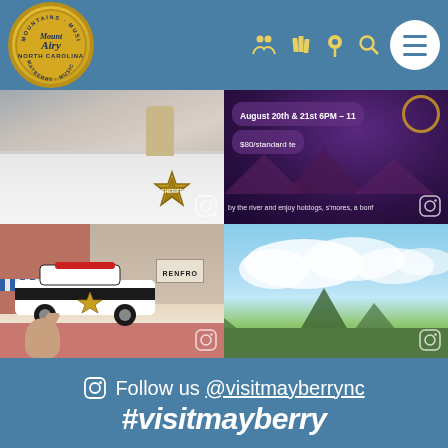Mount Airy North Carolina - Navigation header with logo and menu icons
[Figure (photo): Four-panel Instagram photo grid: top-left shows a sheriff deputy near a white patrol vehicle with star badge; top-right shows a purple event poster with text 'August 20th & 21st 6PM - 11' and '$80/standard te'; bottom-left shows a classic sheriff patrol car (black and white) on a downtown street with RENFRO sign visible, child waving; bottom-right shows a scenic blue sky with mountains and green trees.]
Follow us @visitmayberrync
#visitmayberry